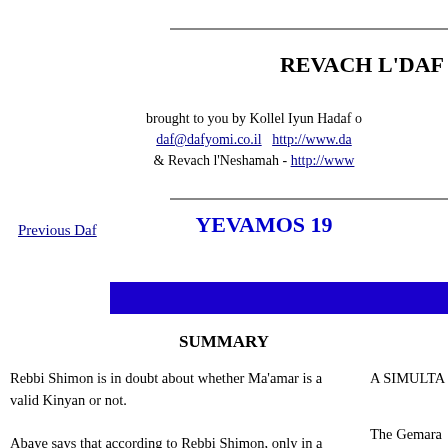REVACH L'DAF
brought to you by Kollel Iyun Hadaf of
daf@dafyomi.co.il    http://www.da
& Revach l'Neshamah - http://www
YEVAMOS 19
Previous Daf
SUMMARY
Rebbi Shimon is in doubt about whether Ma'amar is a valid Kinyan or not.

Abaye says that according to Rebbi Shimon, only in a case where there is only one Yavam is
A SIMULTA

The Gemara
view of Reb
two things t